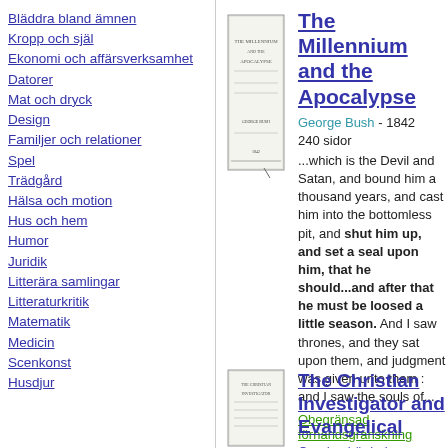Bläddra bland ämnen
Kropp och själ
Ekonomi och affärsverksamhet
Datorer
Mat och dryck
Design
Familjer och relationer
Spel
Trädgård
Hälsa och motion
Hus och hem
Humor
Juridik
Litterära samlingar
Litteraturkritik
Matematik
Medicin
Scenkonst
Husdjur
[Figure (illustration): Book cover thumbnail for The Millennium and the Apocalypse]
The Millennium and the Apocalypse
George Bush - 1842
240 sidor
...which is the Devil and Satan, and bound him a thousand years, and cast him into the bottomless pit, and shut him up, and set a seal upon him, that he should...and after that he must be loosed a little season. And I saw thrones, and they sat upon them, and judgment was given unto them : and I saw the souls of...
Obegränsad förhandsgranskning
Om den här boken
[Figure (illustration): Book cover thumbnail for The Christian Investigator and Evangelical]
The Christian Investigator and Evangelical